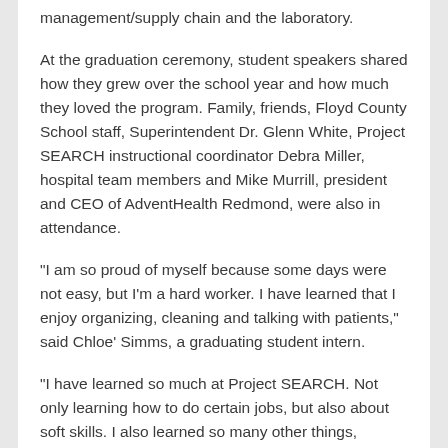management/supply chain and the laboratory.
At the graduation ceremony, student speakers shared how they grew over the school year and how much they loved the program. Family, friends, Floyd County School staff, Superintendent Dr. Glenn White, Project SEARCH instructional coordinator Debra Miller, hospital team members and Mike Murrill, president and CEO of AdventHealth Redmond, were also in attendance.
“I am so proud of myself because some days were not easy, but I’m a hard worker. I have learned that I enjoy organizing, cleaning and talking with patients,” said Chloe’ Simms, a graduating student intern.
“I have learned so much at Project SEARCH. Not only learning how to do certain jobs, but also about soft skills. I also learned so many other things, especially about myself. I’ve learned to push myself harder, work smarter, faster, build my patience, and most of